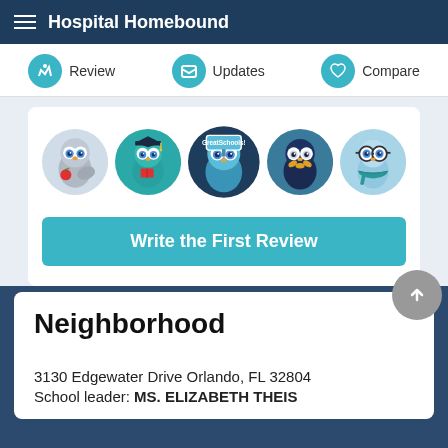Hospital Homebound
Review   Updates   Compare
[Figure (illustration): Five cartoon owl mascots in circular frames representing GreatSchools badges]
Write the First Review
Neighborhood
3130 Edgewater Drive Orlando, FL 32804
School leader: MS. ELIZABETH THEIS